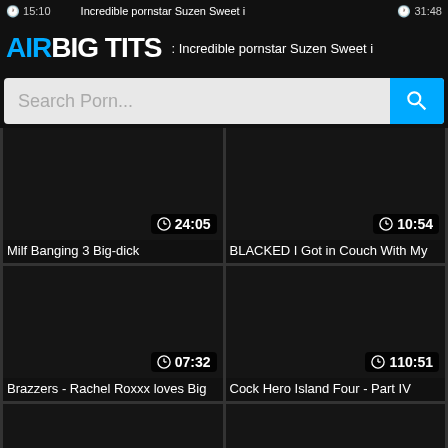AIRBIG TITS
Search Porn...
[Figure (screenshot): Video thumbnail dark, duration 24:05, title: Milf Banging 3 Big-dick]
[Figure (screenshot): Video thumbnail dark, duration 10:54, title: BLACKED I Got in Couch With My]
[Figure (screenshot): Video thumbnail dark, duration 07:32, title: Brazzers - Rachel Roxxx loves Big]
[Figure (screenshot): Video thumbnail dark, duration 110:51, title: Cock Hero Island Four - Part IV]
[Figure (screenshot): Video thumbnail dark, duration 15:46]
[Figure (screenshot): Video thumbnail dark, duration 32:03]